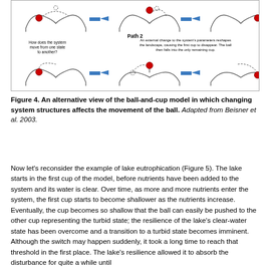[Figure (illustration): Ball-and-cup model diagram showing two paths of system state transitions. Top row (Path 1): ball moves between cups via perturbation. Bottom row (Path 2): external change reshapes the landscape causing first cup to disappear; ball falls into only remaining cup. Arrows indicate transitions. Text labels: 'How does the system move from one state to another?', 'Path 2', 'An external change to the system's parameters reshapes the landscape, causing the first cup to disappear. The ball then falls into the only remaining cup.']
Figure 4. An alternative view of the ball-and-cup model in which changing system structures affects the movement of the ball. Adapted from Beisner et al. 2003.
Now let's reconsider the example of lake eutrophication (Figure 5). The lake starts in the first cup of the model, before nutrients have been added to the system and its water is clear. Over time, as more and more nutrients enter the system, the first cup starts to become shallower as the nutrients increase. Eventually, the cup becomes so shallow that the ball can easily be pushed to the other cup representing the turbid state; the resilience of the lake's clear-water state has been overcome and a transition to a turbid state becomes imminent. Although the switch may happen suddenly, it took a long time to reach that threshold in the first place. The lake's resilience allowed it to absorb the disturbance for quite a while until